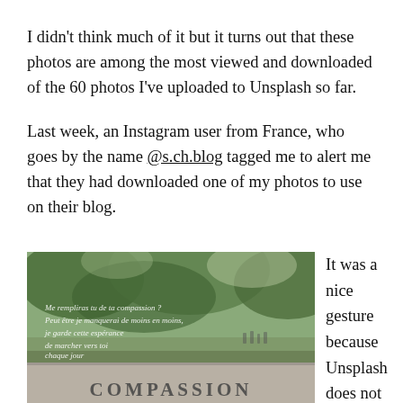I didn't think much of it but it turns out that these photos are among the most viewed and downloaded of the 60 photos I've uploaded to Unsplash so far.
Last week, an Instagram user from France, who goes by the name @s.ch.blog tagged me to alert me that they had downloaded one of my photos to use on their blog.
[Figure (photo): A blurred outdoor photo showing green trees in the background with people in the distance. In the foreground is a stone monument or wall with 'COMPASSION' carved into it. Overlaid French text (poem) reads: 'Me rempliras tu de ta compassion ? Peut être je manquerai de moins en moins, je garde cette espérance de marcher vers toi chaque jour un peu plus.']
It was a nice gesture because Unsplash does not require